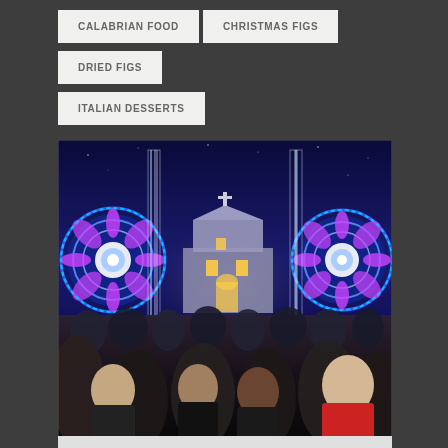CALABRIAN FOOD
CHRISTMAS FIGS
DRIED FIGS
ITALIAN DESSERTS
[Figure (photo): Night festival scene with large ornate circular light decorations flanking a pathway leading to an illuminated church/cathedral building, with a large crowd of people gathered in the foreground.]